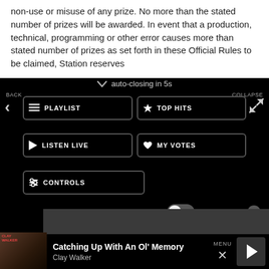non-use or misuse of any prize. No more than the stated number of prizes will be awarded. In event that a production, technical, programming or other error causes more than stated number of prizes as set forth in these Official Rules to be claimed, Station reserves
auto-closing in 5s
[Figure (screenshot): Mobile app navigation menu with buttons: PLAYLIST, TOP HITS, LISTEN LIVE, MY VOTES, CONTROLS. Back arrow on left, Collapse on right.]
Data opt-out
[Figure (screenshot): Music player bar showing 'Catching Up With An Ol' Memory' by Clay Walker with album art, MENU label, X close icon, and play button]